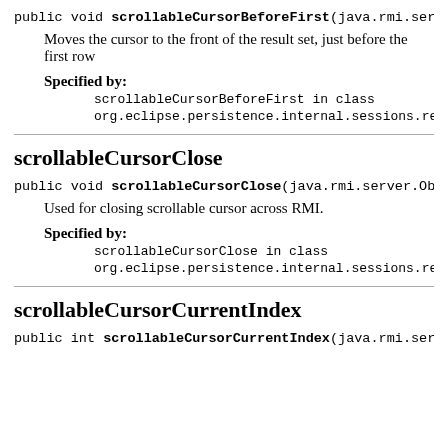public void scrollableCursorBeforeFirst(java.rmi.server.O...
Moves the cursor to the front of the result set, just before the first row
Specified by:
scrollableCursorBeforeFirst in class org.eclipse.persistence.internal.sessions.remo...
scrollableCursorClose
public void scrollableCursorClose(java.rmi.server.ObjID ...
Used for closing scrollable cursor across RMI.
Specified by:
scrollableCursorClose in class org.eclipse.persistence.internal.sessions.remo...
scrollableCursorCurrentIndex
public int scrollableCursorCurrentIndex(java.rmi.server.O...